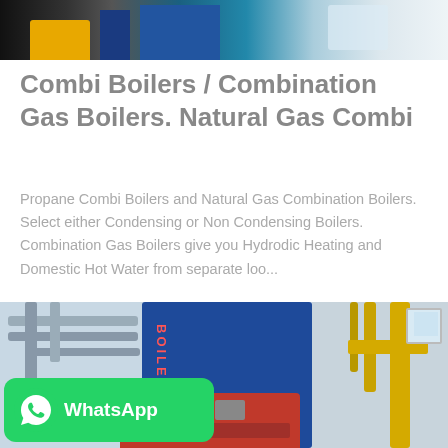[Figure (photo): Top partial image of industrial boilers/equipment in dark blues and yellows]
Combi Boilers / Combination Gas Boilers. Natural Gas Combi
Propane Combi Boilers and Natural Gas Combination Boilers. Select either Condensing or Non Condensing Boilers. Combination Gas Boilers give you Hydrodic Heating and Domestic Hot Water from separate loo...
[Figure (photo): Industrial boiler room with large blue gas boiler, yellow pipes, red burner unit, and piping infrastructure]
[Figure (other): WhatsApp contact badge with green background and WhatsApp logo]